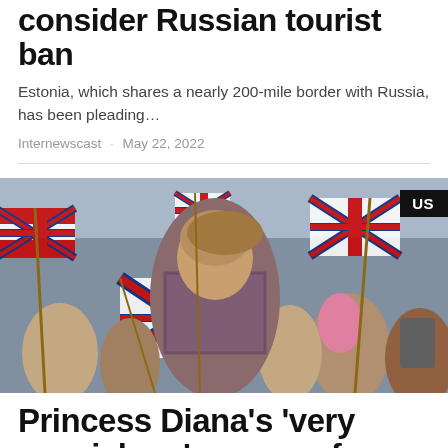consider Russian tourist ban
Estonia, which shares a nearly 200-mile border with Russia, has been pleading…
Internewscast · May 22, 2022
[Figure (photo): Woman surrounded by crowd waving Union Jack flags, with a US badge in upper right corner]
Princess Diana's 'very special car' goes up for auction